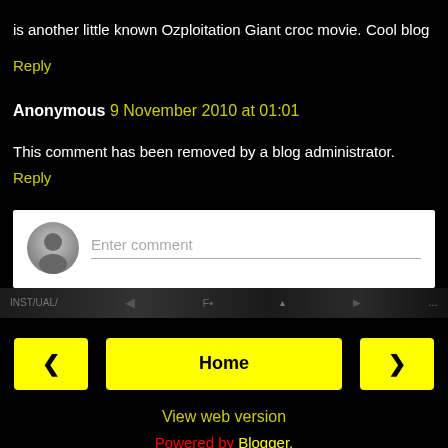is another little known Ozploitation Giant croc movie.
Cool blog
Reply
Anonymous 9 November 2010 at 01:01
This comment has been removed by a blog administrator.
Reply
[Figure (other): Enter comment input box with avatar icon]
[Figure (other): Navigation image strip with dark background]
Home navigation bar with left and right arrow buttons
View web version
Powered by Blogger.